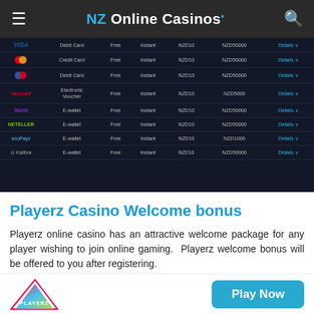NZ Online Casinos
[Figure (screenshot): Screenshot of a dark-themed payment methods table showing rows for Visa (Debit Card), Mastercard (Credit Card), Maestro (Debit Card), Neosurf (Electronic Voucher), Skrill (E-wallet), NETELLER (E-wallet), ecoPayz (E-wallet), Kalibra (E-wallet). Columns include payment method name/logo, type, fee (all Free), speed (all Instant), min (NZD10), max (NZD50000), and Details buttons.]
Playerz Casino Welcome bonus
Playerz online casino has an attractive welcome package for any player wishing to join online gaming.  Playerz welcome bonus will be offered to you after registering.
[Figure (logo): Playerz casino logo - colorful triangular play button shape with PLAYERZ text]
Play Now